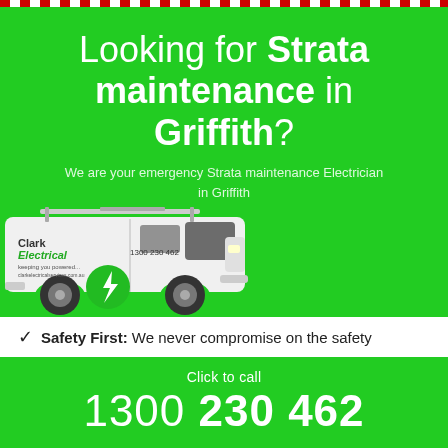Looking for Strata maintenance in Griffith?
We are your emergency Strata maintenance Electrician in Griffith
[Figure (illustration): Clark Electrical branded white van with roof racks and green lightning bolt logo, parked on green background]
Safety First: We never compromise on the safety
Click to call
1300 230 462